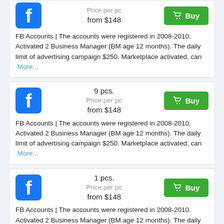FB Accounts | The accounts were registered in 2008-2010. Activated 2 Business Manager (BM age 12 months). The daily limit of advertising campaign $250. Marketplace activated, can More...
9 pcs. Price per pc from $148 Buy | FB Accounts | The accounts were registered in 2008-2010. Activated 2 Business Manager (BM age 12 months). The daily limit of advertising campaign $250. Marketplace activated, can More...
1 pcs. Price per pc from $148 Buy | FB Accounts | The accounts were registered in 2008-2010. Activated 2 Business Manager (BM age 12 months). The daily limit of advertising campaign $250. Marketplace activated, can More...
3 pcs. Price per pc from $148 Buy | FB Accounts | The accounts were registered in 2008-2010.